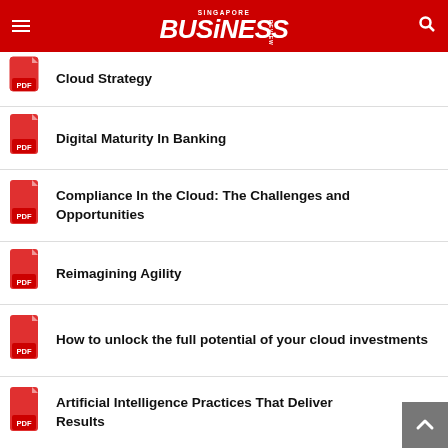Singapore Business Review
Cloud Strategy
Digital Maturity In Banking
Compliance In the Cloud: The Challenges and Opportunities
Reimagining Agility
How to unlock the full potential of your cloud investments
Artificial Intelligence Practices That Deliver Results